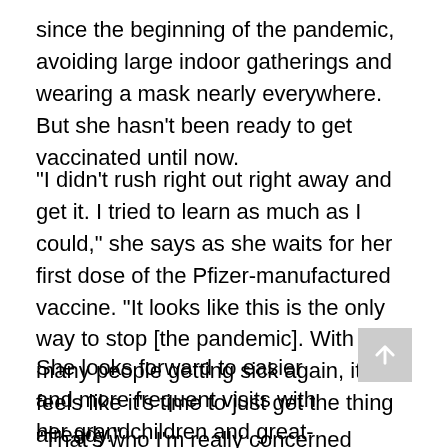since the beginning of the pandemic, avoiding large indoor gatherings and wearing a mask nearly everywhere. But she hasn't been ready to get vaccinated until now.
“I didn’t rush right out right away and get it. I tried to learn as much as I could,” she says as she waits for her first dose of the Pfizer-manufactured vaccine. “It looks like this is the only way to stop [the pandemic]. With so many people getting sick again, it feels like it’s time to just get the thing already.”
She looks forward to easier and more frequent visits with her grandchildren and great-grandchildren.
“That’s who I’m really concerned about,” she says